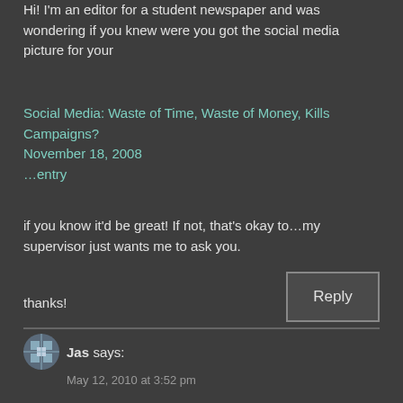Hi! I'm an editor for a student newspaper and was wondering if you knew were you got the social media picture for your
Social Media: Waste of Time, Waste of Money, Kills Campaigns?
November 18, 2008
…entry
if you know it'd be great! If not, that's okay to…my supervisor just wants me to ask you.
thanks!
Jas says:
May 12, 2010 at 3:52 pm